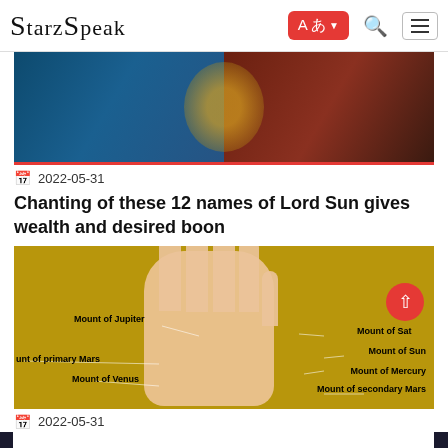StarzSpeak
[Figure (photo): Surya Dev deity image with golden chariot and horses on cosmic background]
2022-05-31
Chanting of these 12 names of Lord Sun gives wealth and desired boon
[Figure (photo): Palm reading diagram on golden background showing mounts: Mount of Jupiter, Mount of Saturn, Mount of primary Mars, Mount of Venus, Mount of Sun, Mount of Mercury, Mount of secondary Mars]
2022-05-31